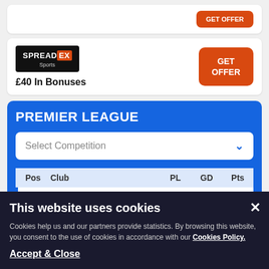[Figure (logo): Partial top card with orange GET OFFER button]
[Figure (logo): SpreadEx Sports logo on black background]
£40 In Bonuses
GET OFFER
PREMIER LEAGUE
Select Competition
| Pos | Club | PL | GD | Pts |
| --- | --- | --- | --- | --- |
| 1 | Arsenal | 4 | +8 | 12 |
| 2 | Man City | 4 | +8 | 10 |
This website uses cookies
Cookies help us and our partners provide statistics. By browsing this website, you consent to the use of cookies in accordance with our Cookies Policy.
Accept & Close